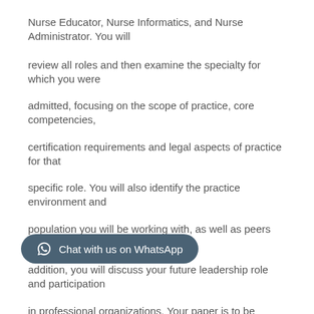Nurse Educator, Nurse Informatics, and Nurse Administrator. You will

review all roles and then examine the specialty for which you were

admitted, focusing on the scope of practice, core competencies,

certification requirements and legal aspects of practice for that

specific role. You will also identify the practice environment and

population you will be working with, as well as peers and colleagues. In

addition, you will discuss your future leadership role and participation

in professional organizations. Your paper is to be based on current

literature, standards of practice, core competencies and

bodies for your chosen role. APA format is required for this 10-12